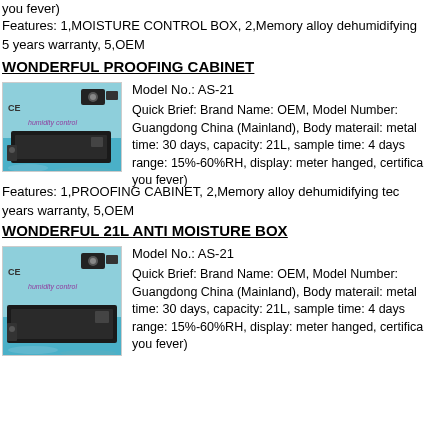you fever)
Features: 1,MOISTURE CONTROL BOX, 2,Memory alloy dehumidifying 5 years warranty, 5,OEM
WONDERFUL PROOFING CABINET
[Figure (photo): Photo of a humidity control cabinet/box with CE mark, camera icons, shown with water splashes]
Model No.: AS-21
Quick Brief: Brand Name: OEM, Model Number: Guangdong China (Mainland), Body materail: metal time: 30 days, capacity: 21L, sample time: 4 days range: 15%-60%RH, display: meter hanged, certifica you fever)
Features: 1,PROOFING CABINET, 2,Memory alloy dehumidifying tec years warranty, 5,OEM
WONDERFUL 21L ANTI MOISTURE BOX
[Figure (photo): Photo of a humidity control anti-moisture box with CE mark, camera icons, shown with water splashes]
Model No.: AS-21
Quick Brief: Brand Name: OEM, Model Number: Guangdong China (Mainland), Body materail: metal time: 30 days, capacity: 21L, sample time: 4 days range: 15%-60%RH, display: meter hanged, certifica you fever)